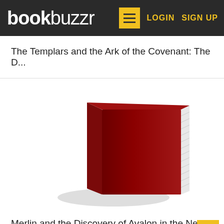bookbuzzr — LOGIN  SIGN UP
The Templars and the Ark of the Covenant: The D...
[Figure (illustration): A 3D rendered red hardcover book standing upright, with white pages visible on the right edge and a slight shadow beneath it on a white background.]
Merlin and the Discovery of Avalon in the New W...